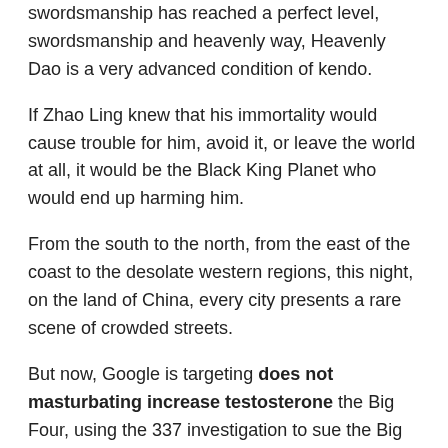swordsmanship has reached a perfect level, swordsmanship and heavenly way, Heavenly Dao is a very advanced condition of kendo.
If Zhao Ling knew that his immortality would cause trouble for him, avoid it, or leave the world at all, it would be the Black King Planet who would end up harming him.
From the south to the north, from the east of the coast to the desolate western regions, this night, on the land of China, every city presents a rare scene of crowded streets.
But now, Google is targeting does not masturbating increase testosterone the Big Four, using the 337 investigation to sue the Big Four for monopoly black rhino pill 4k and infringement.
Feature Article
https://hhcseniorservices.org/health-wellness/health-